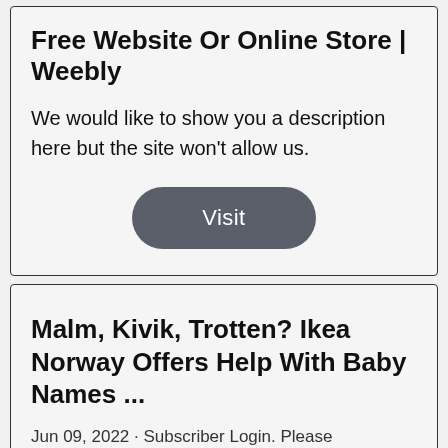Free Website Or Online Store | Weebly
We would like to show you a description here but the site won't allow us.
Visit
Malm, Kivik, Trotten? Ikea Norway Offers Help With Baby Names ...
Jun 09, 2022 · Subscriber Login. Please